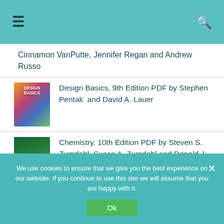Navigation header with hamburger menu and search icon
Cinnamon VanPutte, Jennifer Regan and Andrew Russo
Design Basics, 9th Edition PDF by Stephen Pentak  and David A. Lauer
Chemistry, 10th Edition PDF by Steven S. Zumdahl, Susan A. Zumdahl and Donald J. DeCoste
The Legal Environment of Business, Text and Cases
We use cookies to ensure that we give you the best experience on our website. If you continue to use this site we will assume that you are happy with it.